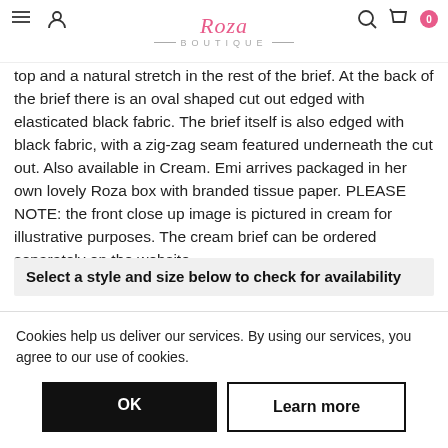BOUTIQUE — navigation header with logo
top and a natural stretch in the rest of the brief. At the back of the brief there is an oval shaped cut out edged with elasticated black fabric. The brief itself is also edged with black fabric, with a zig-zag seam featured underneath the cut out. Also available in Cream. Emi arrives packaged in her own lovely Roza box with branded tissue paper. PLEASE NOTE: the front close up image is pictured in cream for illustrative purposes. The cream brief can be ordered separately on the website.
Select a style and size below to check for availability
Delivery date: 1-2 working days
Cookies help us deliver our services. By using our services, you agree to our use of cookies.
OK   Learn more